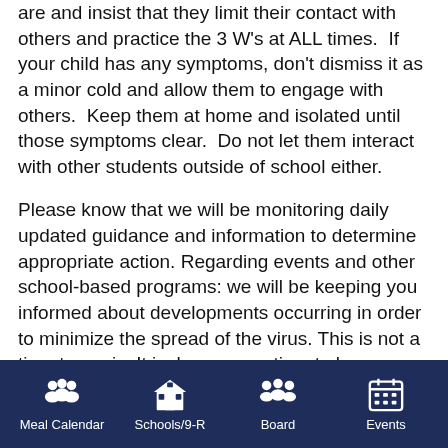are and insist that they limit their contact with others and practice the 3 W's at ALL times.  If your child has any symptoms, don't dismiss it as a minor cold and allow them to engage with others.  Keep them at home and isolated until those symptoms clear.  Do not let them interact with other students outside of school either.
Please know that we will be monitoring daily updated guidance and information to determine appropriate action. Regarding events and other school-based programs: we will be keeping you informed about developments occurring in order to minimize the spread of the virus. This is not a time to panic. It is, however, a time to be attentive, flexible, serious, and engaged regarding the steps we need to take as a community to care for ourselves and for one another. Together, we can have an impact and slow this spread.  Please be attentive to all emails and/or 9-R communications
Meal Calendar  Schools/9-R  Board  Events